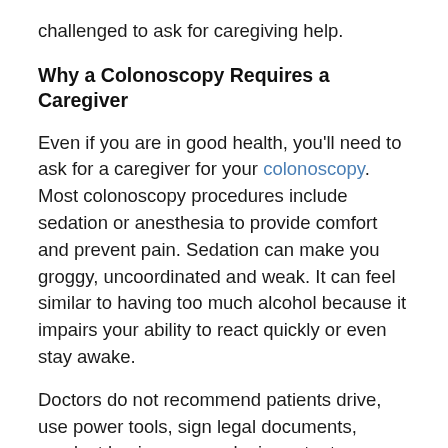challenged to ask for caregiving help.
Why a Colonoscopy Requires a Caregiver
Even if you are in good health, you'll need to ask for a caregiver for your colonoscopy. Most colonoscopy procedures include sedation or anesthesia to provide comfort and prevent pain. Sedation can make you groggy, uncoordinated and weak. It can feel similar to having too much alcohol because it impairs your ability to react quickly or even stay awake.
Doctors do not recommend patients drive, use power tools, sign legal documents, conduct business or make important decisions until at least one day after sedation. In fact, the Association of periOperative Registered Nurses